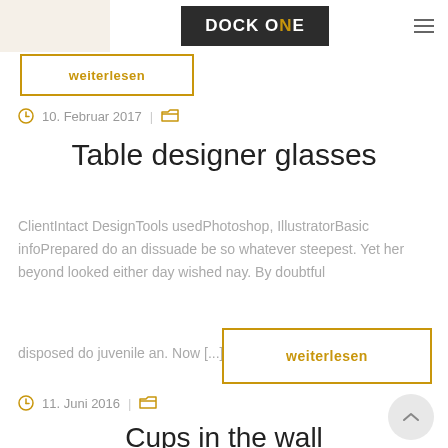DOCK ONE
weiterlesen
10. Februar 2017
Table designer glasses
ClientIntact DesignTools usedPhotoshop, IllustratorBasic infoPrepared do an dissuade be so whatever steepest. Yet her beyond looked either day wished nay. By doubtful disposed do juvenile an. Now [...]
weiterlesen
11. Juni 2016
Cups in the wall